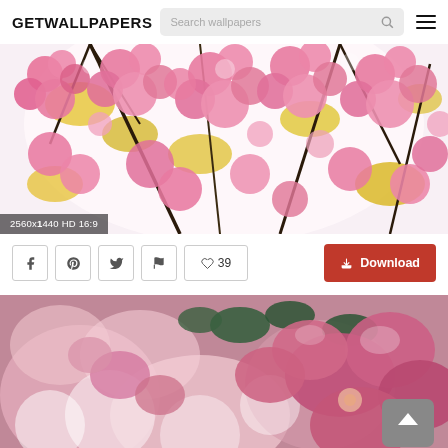GETWALLPAPERS
[Figure (screenshot): Website header with GETWALLPAPERS logo, search bar with 'Search wallpapers' placeholder and search icon, and hamburger menu icon on the right]
[Figure (photo): Close-up photo of pink cherry blossom flowers with golden-yellow leaves against bright white sky, with resolution badge '2560x1440 HD 16:9' in bottom-left corner]
2560x1440 HD 16:9
[Figure (screenshot): Action bar with social share buttons (Facebook, Pinterest, Twitter, Flag), likes button showing heart icon and 39 likes, and a red Download button with download arrow icon]
[Figure (photo): Close-up photo of pink flowers with green leaves, blurred bokeh background, partially visible at bottom of page. A grey scroll-to-top button with upward chevron is in the bottom-right corner.]